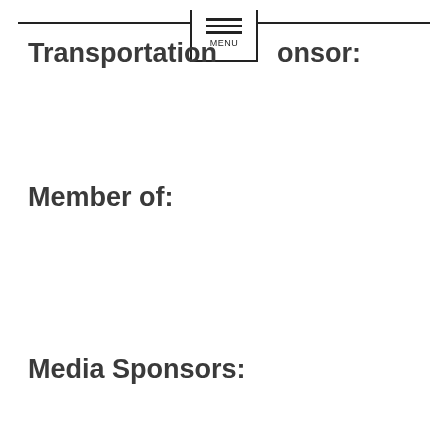Transportation Sponsor:
Member of:
Media Sponsors: